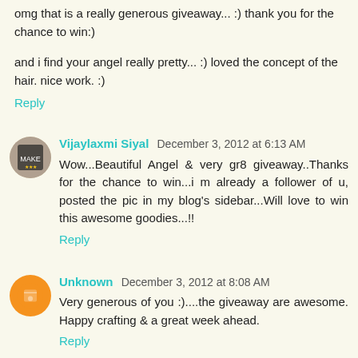omg that is a really generous giveaway... :) thank you for the chance to win:)
and i find your angel really pretty... :) loved the concept of the hair. nice work. :)
Reply
Vijaylaxmi Siyal December 3, 2012 at 6:13 AM
Wow...Beautiful Angel & very gr8 giveaway..Thanks for the chance to win...i m already a follower of u, posted the pic in my blog's sidebar...Will love to win this awesome goodies...!!
Reply
Unknown December 3, 2012 at 8:08 AM
Very generous of you :)....the giveaway are awesome. Happy crafting & a great week ahead.
Reply